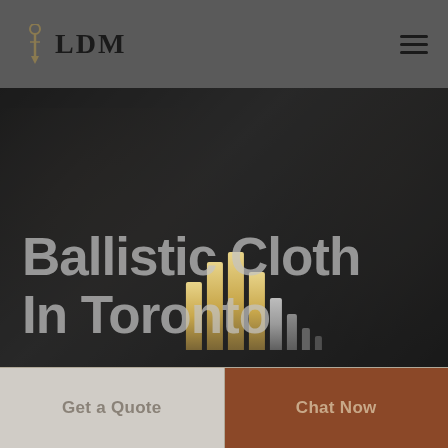[Figure (logo): LDM logo with pen/needle icon and serif bold text LDM]
[Figure (illustration): Hamburger menu icon (three horizontal lines)]
[Figure (photo): Dark hero background image with overlay, golden/tan animated bar chart graphic overlaid]
Ballistic Cloth In Toronto
Get a Quote
Chat Now